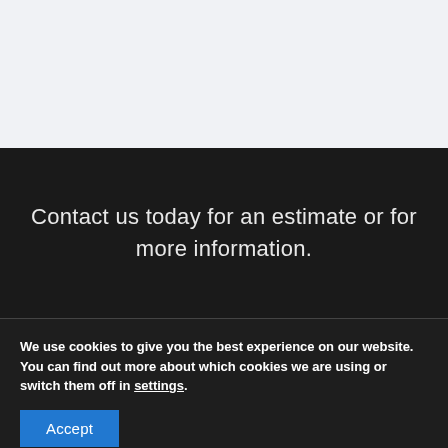[Figure (other): Light gray background section at top of page]
Contact us today for an estimate or for more information.
We use cookies to give you the best experience on our website.
You can find out more about which cookies we are using or switch them off in settings.
Accept